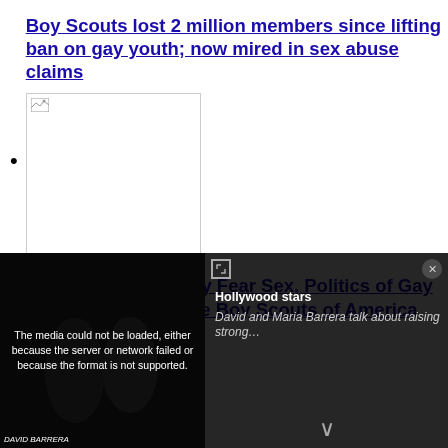Boy Scouts lost 2 million members since lifting ban on gay youth; now mired in sex abuse claims
[Figure (photo): Thumbnail image placeholder with broken image icon, white background with border]
Scouting Community Fear Sex, Politics of Gay Agenda Will Fracture Boy Scouts of America
[Figure (photo): Second thumbnail image placeholder with broken image icon, white background with border]
[Figure (screenshot): Video overlay at bottom: dark background with two people visible on left, error message 'The media could not be loaded, either because the server or network failed or because the format is not supported.' On right side: text about Hollywood stars David and Maria Barrera talk about raising strong... with close button and expand icon.]